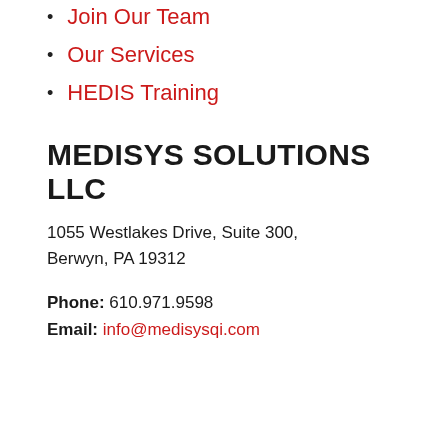Join Our Team
Our Services
HEDIS Training
MEDISYS SOLUTIONS LLC
1055 Westlakes Drive, Suite 300, Berwyn, PA 19312
Phone: 610.971.9598
Email: info@medisysqi.com